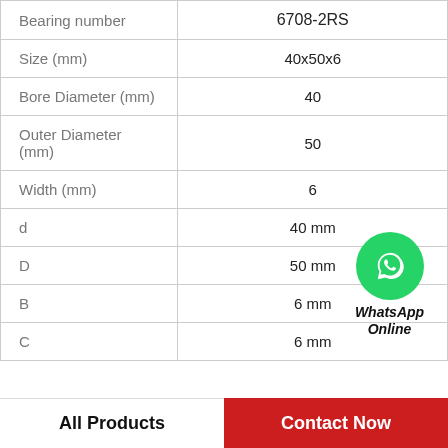| Property | Value |
| --- | --- |
| Bearing number | 6708-2RS |
| Size (mm) | 40x50x6 |
| Bore Diameter (mm) | 40 |
| Outer Diameter (mm) | 50 |
| Width (mm) | 6 |
| d | 40 mm |
| D | 50 mm |
| B | 6 mm |
| C | 6 mm |
[Figure (logo): WhatsApp Online contact button with green WhatsApp phone icon and bold italic text 'WhatsApp Online']
All Products
Contact Now